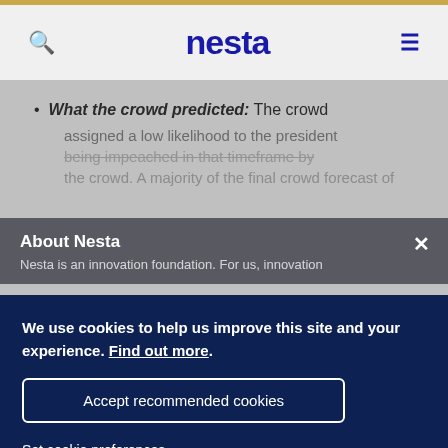nesta
What the crowd predicted: The crowd assigned a low likelihood to the president being impeached in that timeframe by the crowd. A majority of the final crowd forecast of
About Nesta
Nesta is an innovation foundation. For us, innovation
We use cookies to help us improve this site and your experience. Find out more.
Accept recommended cookies
Set cookie preferences